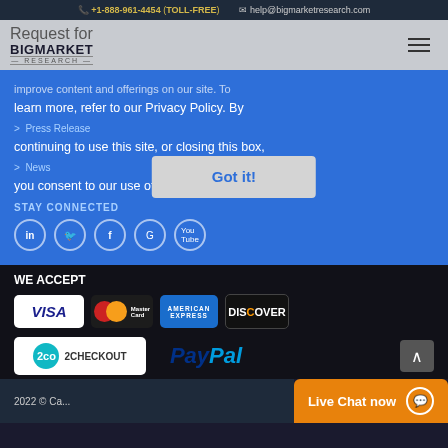+1-888-961-4454 (TOLL-FREE)   help@bigmarketresearch.com
Request for BigMarket Research
improve content and offerings on our site. To learn more, refer to our Privacy Policy. By continuing to use this site, or closing this box, you consent to our use of cookies. Learn more
> Press Release
> News
STAY CONNECTED
[Figure (screenshot): Got it! button overlay on cookie consent banner]
WE ACCEPT
[Figure (logo): Visa payment card logo]
[Figure (logo): Mastercard payment logo]
[Figure (logo): American Express payment logo]
[Figure (logo): Discover Network payment logo]
[Figure (logo): 2Checkout payment logo]
[Figure (logo): PayPal payment logo]
2022 © C...   Live Chat now